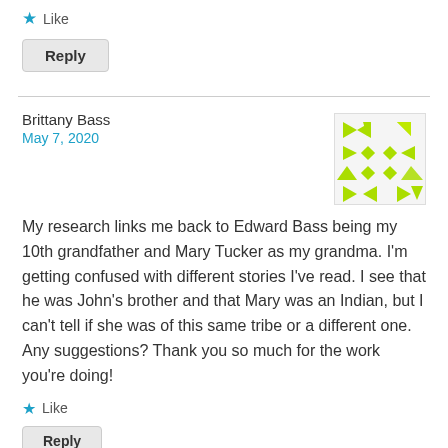Like
Reply
Brittany Bass
May 7, 2020
[Figure (illustration): A green geometric avatar/pattern with triangles, diamonds, and arrows arranged in a grid on a light background]
My research links me back to Edward Bass being my 10th grandfather and Mary Tucker as my grandma. I'm getting confused with different stories I've read. I see that he was John's brother and that Mary was an Indian, but I can't tell if she was of this same tribe or a different one. Any suggestions? Thank you so much for the work you're doing!
Like
Reply